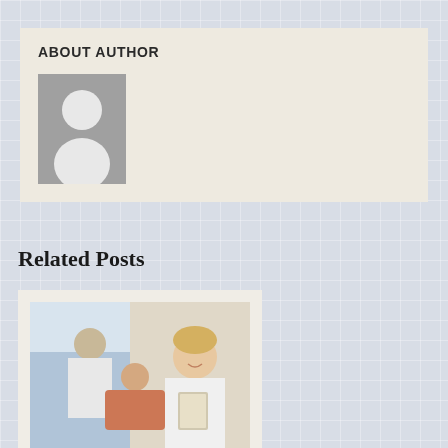ABOUT AUTHOR
[Figure (photo): Generic author avatar placeholder — grey rectangle with white person silhouette icon]
Related Posts
[Figure (photo): Photo of a dental clinic scene: a male dentist treating a young patient in a chair while a smiling female dental professional in white coat holds a clipboard]
HOW DOES A DENTIST HELP WITH PROBLEMATIC WISDOM TEETH IN